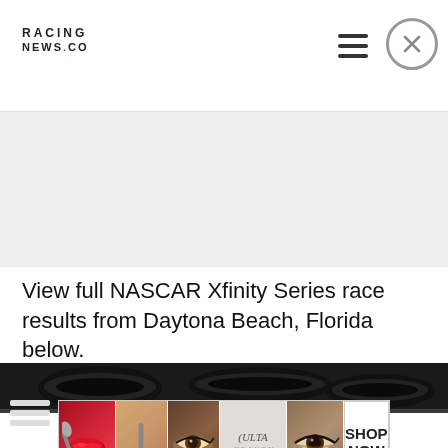RACING NEWS.CO
[Figure (screenshot): Gray advertisement placeholder area]
View full NASCAR Xfinity Series race results from Daytona Beach, Florida below.
[Figure (photo): Dark bar showing partial car image with oval shapes]
[Figure (photo): Ulta Beauty advertisement strip with makeup imagery, ULTA logo, and SHOP NOW button]